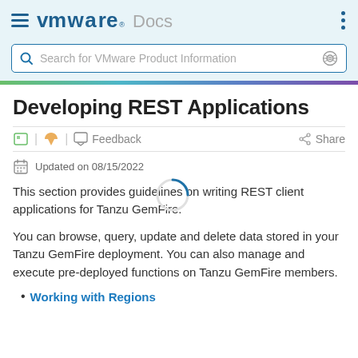VMware Docs
Search for VMware Product Information
Developing REST Applications
Feedback | Share
Updated on 08/15/2022
This section provides guidelines on writing REST client applications for Tanzu GemFire.
You can browse, query, update and delete data stored in your Tanzu GemFire deployment. You can also manage and execute pre-deployed functions on Tanzu GemFire members.
Working with Regions